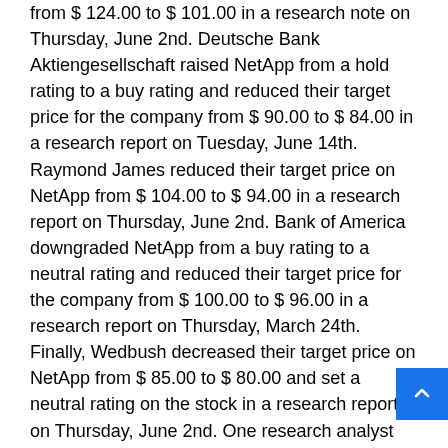from $ 124.00 to $ 101.00 in a research note on Thursday, June 2nd. Deutsche Bank Aktiengesellschaft raised NetApp from a hold rating to a buy rating and reduced their target price for the company from $ 90.00 to $ 84.00 in a research report on Tuesday, June 14th. Raymond James reduced their target price on NetApp from $ 104.00 to $ 94.00 in a research report on Thursday, June 2nd. Bank of America downgraded NetApp from a buy rating to a neutral rating and reduced their target price for the company from $ 100.00 to $ 96.00 in a research report on Thursday, March 24th. Finally, Wedbush decreased their target price on NetApp from $ 85.00 to $ 80.00 and set a neutral rating on the stock in a research report on Thursday, June 2nd. One research analyst has rated the stock with a sell rating, eight have issued a hold rating and thirteen have issued a buy rating to the company's stock. According to MarketBeat.com, the stock currently has an average rating of Moderate Buy and an average price target of $ 94.11